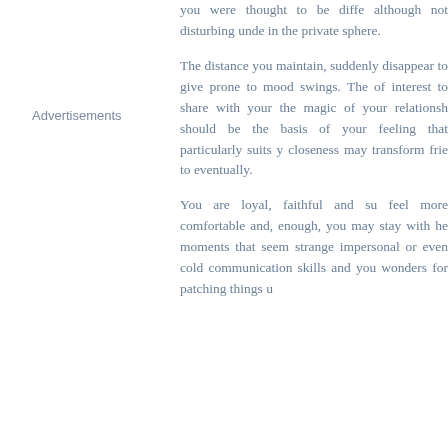you were thought to be diffe although not disturbing unde in the private sphere.
Advertisements
The distance you maintain, suddenly disappear to give prone to mood swings. The of interest to share with your the magic of your relationsh should be the basis of your feeling that particularly suits closeness may transform frie to eventually.
You are loyal, faithful and su feel more comfortable and, enough, you may stay with he moments that seem strange impersonal or even cold communication skills and you wonders for patching things u